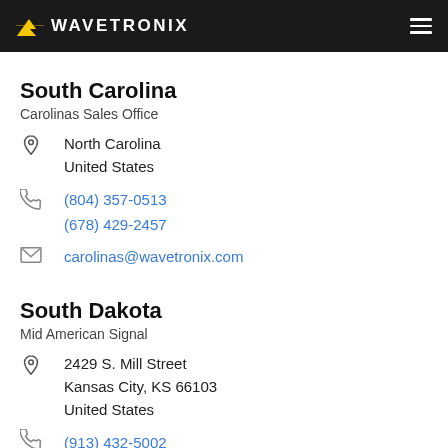WAVETRONIX
South Carolina
Carolinas Sales Office
North Carolina
United States
(804) 357-0513
(678) 429-2457
carolinas@wavetronix.com
South Dakota
Mid American Signal
2429 S. Mill Street
Kansas City, KS 66103
United States
(913) 432-5002